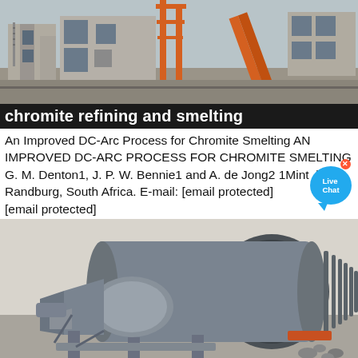[Figure (photo): Aerial view of a large industrial/mining facility under construction with orange crane structures and concrete buildings]
chromite refining and smelting
An Improved DC-Arc Process for Chromite Smelting AN IMPROVED DC-ARC PROCESS FOR CHROMITE SMELTING G. M. Denton1, J. P. W. Bennie1 and A. de Jong2 1Mintek, Randburg, South Africa. E-mail: [email protected] [email protected]
[Figure (photo): Large industrial rotary kiln or drum mill equipment in grey/blue metallic finish, shown at ground level in an industrial facility]